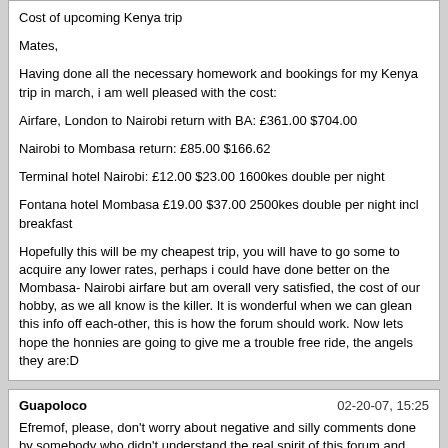Cost of upcoming Kenya trip

Mates,

Having done all the necessary homework and bookings for my Kenya trip in march, i am well pleased with the cost:

Airfare, London to Nairobi return with BA: £361.00 $704.00

Nairobi to Mombasa return: £85.00 $166.62

Terminal hotel Nairobi: £12.00 $23.00 1600kes double per night

Fontana hotel Mombasa £19.00 $37.00 2500kes double per night incl breakfast

Hopefully this will be my cheapest trip, you will have to go some to acquire any lower rates, perhaps i could have done better on the Mombasa- Nairobi airfare but am overall very satisfied, the cost of our hobby, as we all know is the killer. It is wonderful when we can glean this info off each-other, this is how the forum should work. Now lets hope the honnies are going to give me a trouble free ride, the angels they are:D
Guapoloco
02-20-07, 15:25

Efremof, please, don't worry about negative and silly comments done by somebody who didn't understand the real spirit of this forum and present us your holiday's photo.

I think that most of us are waiting for them.
Member #3400
02-21-07, 09:36

Guys